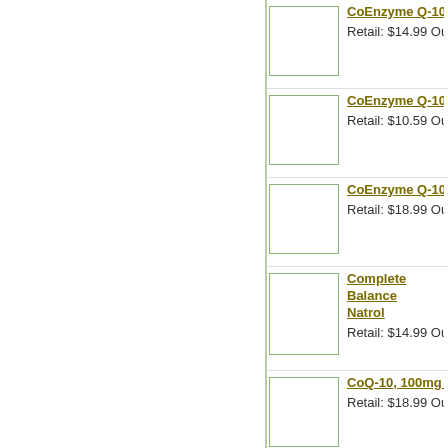CoEnzyme Q-10, 3[...] Retail: $14.99 Our P[...]
CoEnzyme Q-10, 5[...] Retail: $10.59 Our P[...]
CoEnzyme Q-10, 5[...] Retail: $18.99 Our P[...]
Complete Balance [...] Natrol Retail: $14.99 Our P[...]
CoQ-10, 100mg Tim[...] Retail: $18.99 Our P[...]
CoQ-10 150 Mg, 30[...] Retail: $26.99 Our P[...]
Coral Calcium, 120[...] Retail: $12.99 Our P[...]
Cranberry, 400 mg,[...] Retail: $6.99 Our Pr[...]